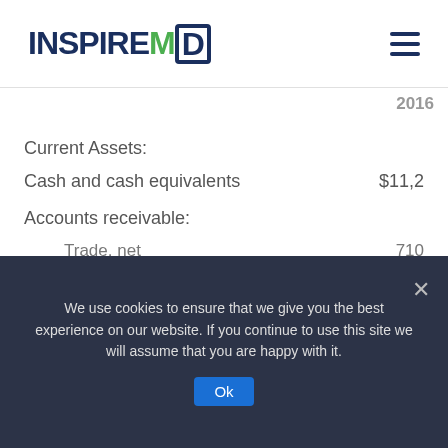InspireMD
|  | 2016 |
| --- | --- |
| Current Assets: |  |
| Cash and cash equivalents | $11,2 |
| Accounts receivable: |  |
| Trade, net | 710 |
| Other | 169 |
| Prepaid expenses | 145 |
We use cookies to ensure that we give you the best experience on our website. If you continue to use this site we will assume that you are happy with it.